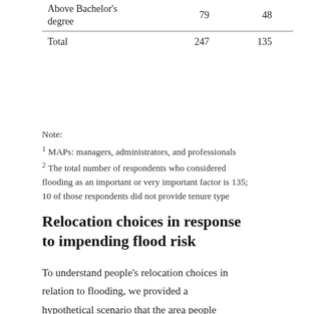| Above Bachelor's degree | 79 | 48 |
| Total | 247 | 135 |
Note:
1 MAPs: managers, administrators, and professionals
2 The total number of respondents who considered flooding as an important or very important factor is 135; 10 of those respondents did not provide tenure type
Relocation choices in response to impending flood risk
To understand people's relocation choices in relation to flooding, we provided a hypothetical scenario that the area people currently live in will be flooded within the